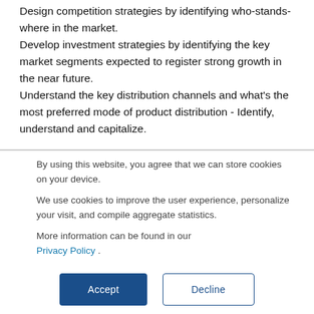Design competition strategies by identifying who-stands-where in the market. Develop investment strategies by identifying the key market segments expected to register strong growth in the near future. Understand the key distribution channels and what's the most preferred mode of product distribution - Identify, understand and capitalize.
By using this website, you agree that we can store cookies on your device.
We use cookies to improve the user experience, personalize your visit, and compile aggregate statistics.
More information can be found in our Privacy Policy .
Accept
Decline